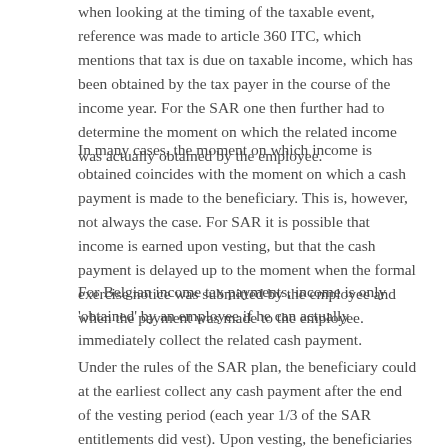when looking at the timing of the taxable event, reference was made to article 360 ITC, which mentions that tax is due on taxable income, which has been obtained by the tax payer in the course of the income year. For the SAR one then further had to determine the moment on which the related income was actually obtained by the employee.
In many cases, the moment on which income is obtained coincides with the moment on which a cash payment is made to the beneficiary. This is, however, not always the case. For SAR it is possible that income is earned upon vesting, but that the cash payment is delayed up to the moment when the formal exercise notice was submitted by the employee and when the payment was made to the employee.
For Belgian income tax payments, income is only 'obtained' by an employee if he can actually immediately collect the related cash payment.
Under the rules of the SAR plan, the beneficiary could at the earliest collect any cash payment after the end of the vesting period (each year 1/3 of the SAR entitlements did vest). Upon vesting, the beneficiaries could submit an exercise notice up to the end of the 10 year expiration